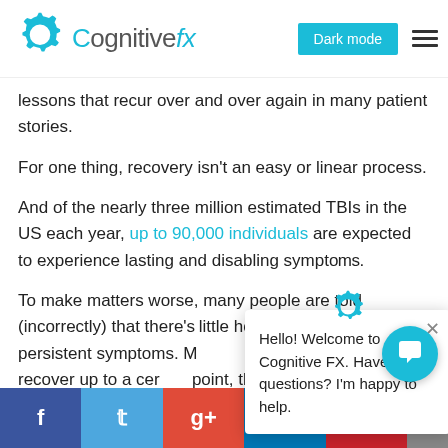CognitiveFX — Dark mode navigation header
lessons that recur over and over again in many patient stories.
For one thing, recovery isn't an easy or linear process.
And of the nearly three million estimated TBIs in the US each year, up to 90,000 individuals are expected to experience lasting and disabling symptoms.
To make matters worse, many people are told (incorrectly) that there's little hope for treating persistent symptoms. Many are told they can only recover up to a certain point, they won't get better. Fortunately, the human brain has an amazing ability to keep improving wi…
Social share buttons: Facebook, Twitter, Google+, LinkedIn, Pinterest